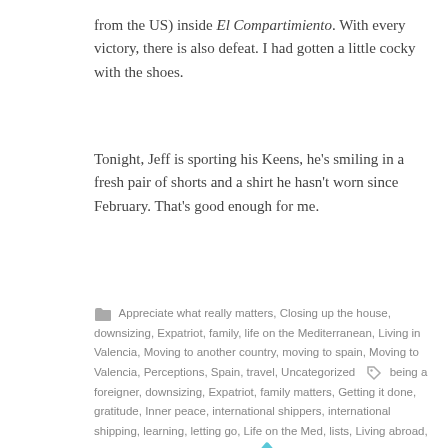from the US) inside El Compartimiento. With every victory, there is also defeat. I had gotten a little cocky with the shoes.
Tonight, Jeff is sporting his Keens, he's smiling in a fresh pair of shorts and a shirt he hasn't worn since February. That's good enough for me.
Appreciate what really matters, Closing up the house, downsizing, Expatriot, family, life on the Mediterranean, Living in Valencia, Moving to another country, moving to spain, Moving to Valencia, Perceptions, Spain, travel, Uncategorized   being a foreigner, downsizing, Expatriot, family matters, Getting it done, gratitude, Inner peace, international shippers, international shipping, learning, letting go, Life on the Med, lists, Living abroad, loving life, making it happen, misunderstandings, moving to spain, Moving to Valencia, New Life, overseas shipping, perspective, priorities, Real Life, Spain, travel, Valencia, wisdom, working together   1 Comment